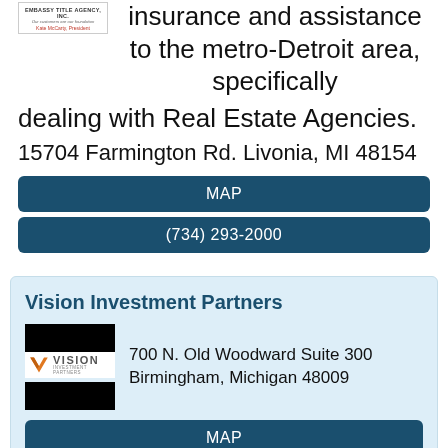[Figure (logo): Embassy Title Agency Inc. logo with text 'Our customers are our foundation' and 'Kate McCarty, President']
insurance and assistance to the metro-Detroit area, specifically dealing with Real Estate Agencies.
15704 Farmington Rd. Livonia, MI 48154
MAP
(734) 293-2000
Vision Investment Partners
[Figure (logo): Vision Investment Partners logo with orange V icon and company name]
700 N. Old Woodward Suite 300 Birmingham, Michigan 48009
MAP
(248) 865-1515